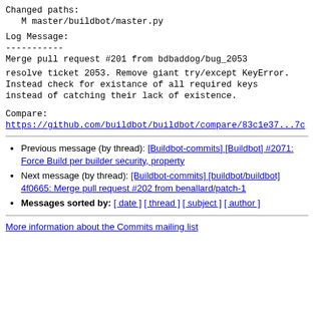Changed paths:
   M master/buildbot/master.py
Log Message:
-----------
Merge pull request #201 from bdbaddog/bug_2053
resolve ticket 2053. Remove giant try/except KeyError.
Instead check for existance of all required keys
instead of catching their lack of existence.
Compare:
https://github.com/buildbot/buildbot/compare/83c1e37...7c
Previous message (by thread): [Buildbot-commits] [Buildbot] #2071: Force Build per builder security, property
Next message (by thread): [Buildbot-commits] [buildbot/buildbot] 4f0665: Merge pull request #202 from benallard/patch-1
Messages sorted by: [ date ] [ thread ] [ subject ] [ author ]
More information about the Commits mailing list